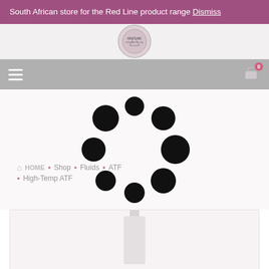South African store for the Red Line product range Dismiss
[Figure (logo): Red Line Synthetic Oil circular logo]
[Figure (screenshot): Navigation bar with hamburger menu on left and cart icon on right]
HOME • Shop • Fluids • ATF • High-Temp ATF
[Figure (other): Loading spinner animation with black dots arranged in a circle]
[Figure (photo): Product image area showing a bottle of Red Line High-Temp ATF fluid]